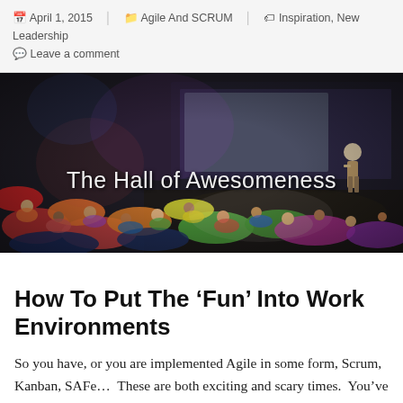April 1, 2015  Agile And SCRUM  Inspiration, New Leadership  Leave a comment
[Figure (photo): A large audience of people sitting and lying on bean bags in a darkened hall watching a presenter on stage, with colorful lighting. Text overlay reads 'The Hall of Awesomeness']
How To Put The ‘Fun’ Into Work Environments
So you have, or you are implemented Agile in some form, Scrum, Kanban, SAFe…  These are both exciting and scary times.  You’ve convinced your boss that this is a better way to create software, to create and deliver business value earlier, quicker and to build an amazing team.  You have told your